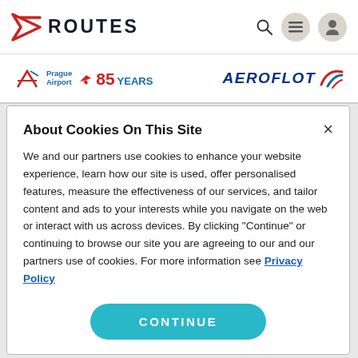ROUTES
[Figure (logo): Prague Airport 85 Years logo and Aeroflot logo banner]
About Cookies On This Site
We and our partners use cookies to enhance your website experience, learn how our site is used, offer personalised features, measure the effectiveness of our services, and tailor content and ads to your interests while you navigate on the web or interact with us across devices. By clicking "Continue" or continuing to browse our site you are agreeing to our and our partners use of cookies. For more information see Privacy Policy
CONTINUE